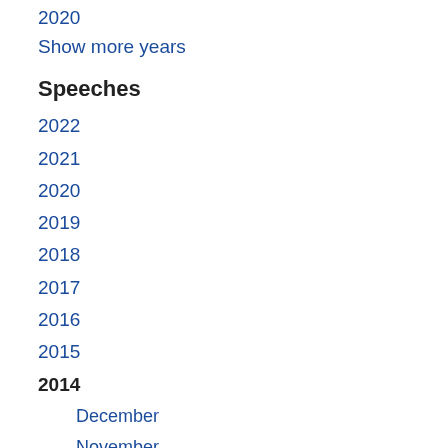2020
Show more years
Speeches
2022
2021
2020
2019
2018
2017
2016
2015
2014
December
November
October
September
August
July
June
April
Minister Mbombo's Address... Library
27 June 2014
Good morning ladies and gentlemen Culture, Nathi Mthethwa, The Mayo... More
Africa Public Service Day
25 June 2014
Speech by Donald Grant, Minister o...
State of the Province Addr...
20 June 2014
Helen Zille, Premier of the Western... address at the Provincial Legislatur... Premier of the Western Cape. Read More
Traffic Officer Graduation...
20 June 2014
Speech by Donald Grant, Minister o...